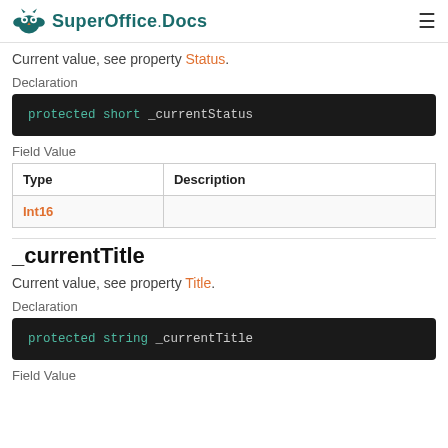SuperOffice.Docs
Current value, see property Status.
Declaration
protected short _currentStatus
Field Value
| Type | Description |
| --- | --- |
| Int16 |  |
_currentTitle
Current value, see property Title.
Declaration
protected string _currentTitle
Field Value